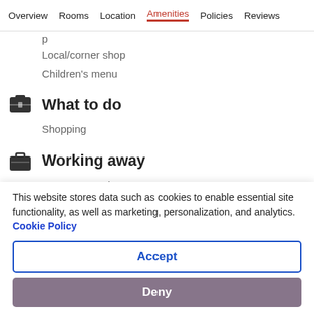Overview  Rooms  Location  Amenities  Policies  Reviews
Local/corner shop
Children's menu
What to do
Shopping
Working away
Computer station
This website stores data such as cookies to enable essential site functionality, as well as marketing, personalization, and analytics. Cookie Policy
Accept
Deny